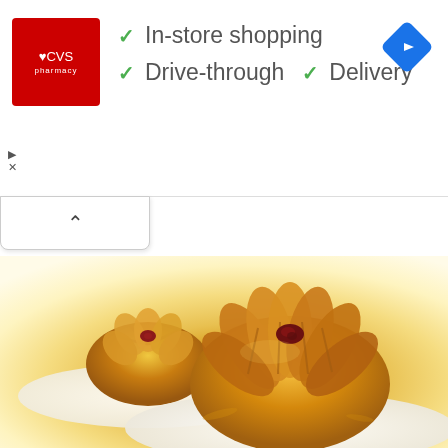[Figure (screenshot): CVS Pharmacy advertisement banner showing store features: In-store shopping, Drive-through, and Delivery with green checkmarks. CVS logo (red square) on left, blue diamond navigation icon on right.]
[Figure (photo): Close-up food photograph of baked pastries (flower-shaped bread rolls topped with dried cranberry/raisin) on white plates. One large pastry in foreground, one smaller in background. Warm golden background with natural lighting.]